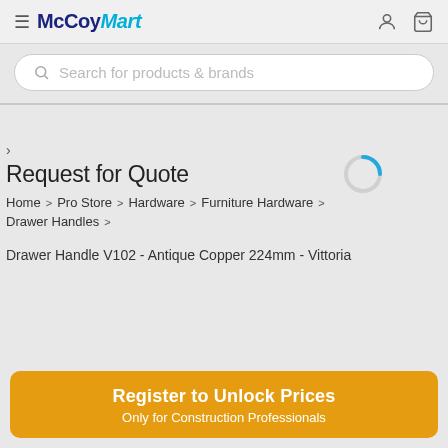McCoy Mart
Search for products & brands
Request for Quote
Home > Pro Store > Hardware > Furniture Hardware > Drawer Handles >
Drawer Handle V102 - Antique Copper 224mm - Vittoria
Register to Unlock Prices
Only for Construction Professionals